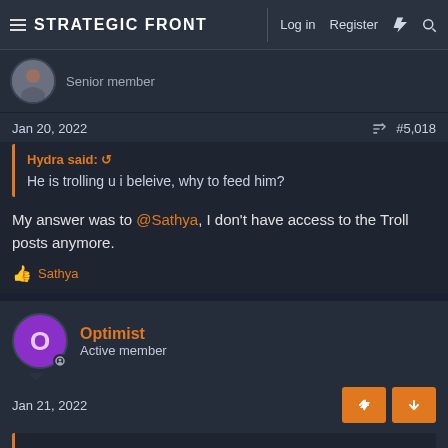STRATEGIC FRONT — Log in | Register
Senior member
Jan 20, 2022   #5,018
Hydra said: ↺
He is trolling u i beleive, why to feed him?
My answer was to @Sathya, I don't have access to the Troll posts anymore.
👍 Sathya
Optimist
Active member
Jan 21, 2022